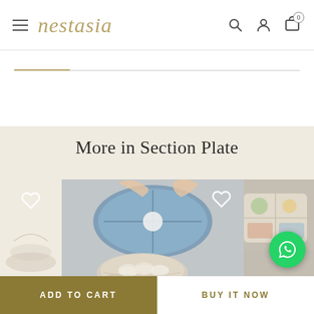nestasia - navigation header with hamburger menu, logo, search, account, and cart icons
More in Section Plate
[Figure (photo): Product listing section showing section plates. Middle card shows a blue ceramic section plate being held over a table with dumplings and other dishes. Right card partially shows another section plate product. Heart/wishlist icons visible on cards. WhatsApp chat button in bottom right corner.]
ADD TO CART
BUY IT NOW